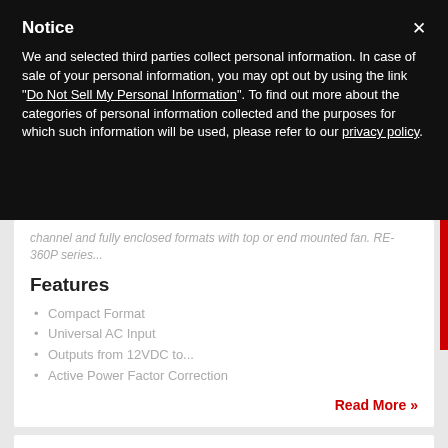Notice
We and selected third parties collect personal information. In case of sale of your personal information, you may opt out by using the link "Do Not Sell My Personal Information". To find out more about the categories of personal information collected and the purposes for which such information will be used, please refer to our privacy policy.
channel and fully enclosed formats with top or end mounted fan. RE-360P series...
Features
Compact Format
Universal AC Input
Outputs from 12VDC to...
Active Power Factor Correction
Read More »
360 Watt AC-DC Power Supplies –